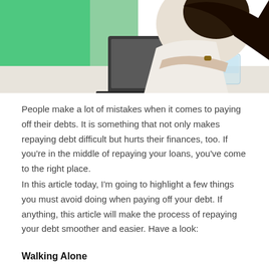[Figure (photo): A woman in a white blazer working on a laptop at a desk, with a glass of water nearby and a green background on the left side.]
People make a lot of mistakes when it comes to paying off their debts. It is something that not only makes repaying debt difficult but hurts their finances, too. If you're in the middle of repaying your loans, you've come to the right place.
In this article today, I'm going to highlight a few things you must avoid doing when paying off your debt. If anything, this article will make the process of repaying your debt smoother and easier. Have a look:
Walking Alone